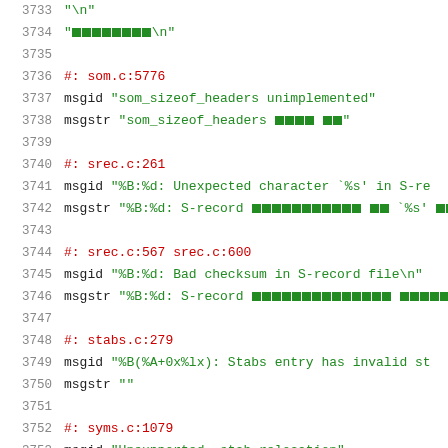3733   "\n"
3734   "[squares]\n"
3735
3736   #: som.c:5776
3737   msgid "som_sizeof_headers unimplemented"
3738   msgstr "som_sizeof_headers [squares]"
3739
3740   #: srec.c:261
3741   msgid "%B:%d: Unexpected character `%s' in S-re
3742   msgstr "%B:%d: S-record [squares] `%s' [squares]
3743
3744   #: srec.c:567 srec.c:600
3745   msgid "%B:%d: Bad checksum in S-record file\n"
3746   msgstr "%B:%d: S-record [squares]\n"
3747
3748   #: stabs.c:279
3749   msgid "%B(%A+0x%lx): Stabs entry has invalid st
3750   msgstr ""
3751
3752   #: syms.c:1079
3753   msgid "Unsupported .stab relocation"